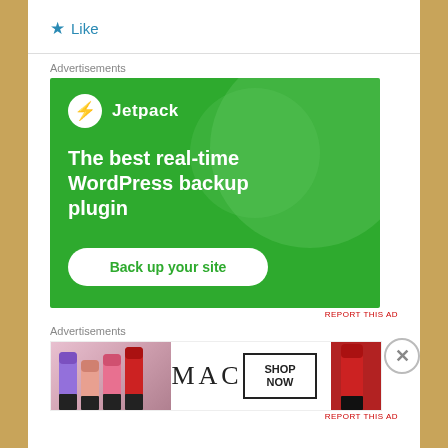★ Like
Advertisements
[Figure (screenshot): Jetpack advertisement: green background with circular decorative elements, Jetpack logo and name, tagline 'The best real-time WordPress backup plugin', and a white rounded button 'Back up your site']
REPORT THIS AD
Advertisements
[Figure (screenshot): MAC cosmetics advertisement showing lipsticks in purple, pink, and red shades, MAC logo in center, and 'SHOP NOW' button box on right]